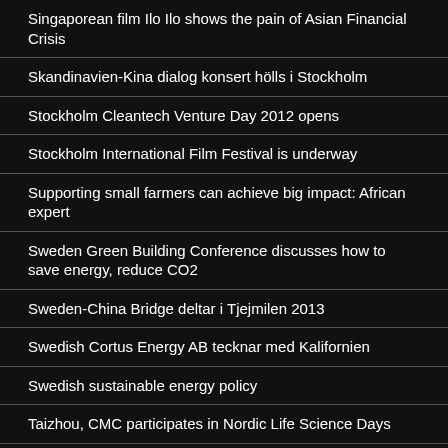Singaporean film Ilo Ilo shows the pain of Asian Financial Crisis
Skandinavien-Kina dialog konsert hölls i Stockholm
Stockholm Cleantech Venture Day 2012 opens
Stockholm International Film Festival is underway
Supporting small farmers can achieve big impact: African expert
Sweden Green Building Conference discusses how to save energy, reduce CO2
Sweden-China Bridge deltar i Tjejmilen 2013
Swedish Cortus Energy AB tecknar med Kalifornien
Swedish sustainable energy policy
Taizhou, CMC participates in Nordic Life Science Days
Tibet Says seminar held in Stockholm
Two Butterflies Flies over Sweden